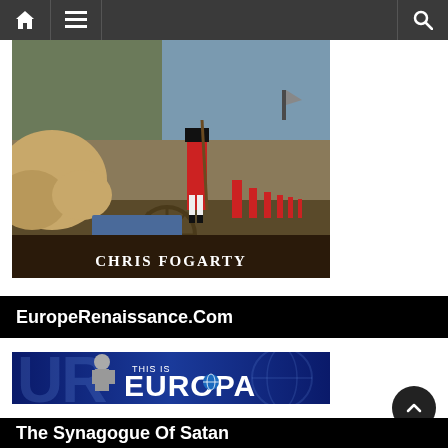Navigation bar with home, menu, and search icons
[Figure (illustration): Book cover image showing soldiers in red coats marching along a beach with a cannon and wagon wheel in foreground. Text at bottom reads 'CHRIS FOGARTY']
EuropeRenaissance.Com
[Figure (illustration): Banner image reading 'THIS IS EUROPA' with a blue background and a classical statue]
The Synagogue Of Satan